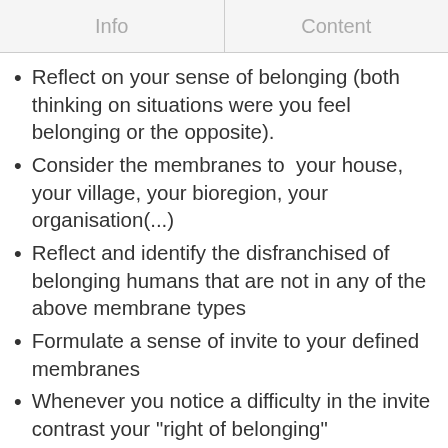Info	Content
Reflect on your sense of belonging (both thinking on situations were you feel belonging or the opposite).
Consider the membranes to  your house, your village, your bioregion, your organisation(...)
Reflect and identify the disfranchised of belonging humans that are not in any of the above membrane types
Formulate a sense of invite to your defined membranes
Whenever you notice a difficulty in the invite contrast your "right of belonging"